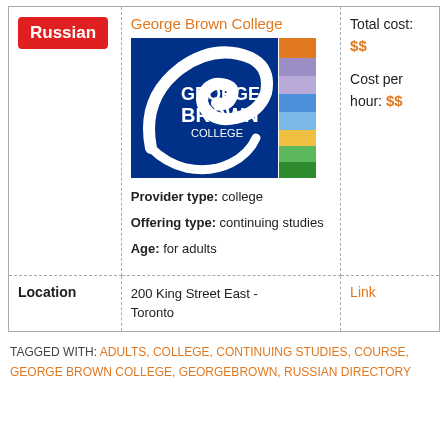| Language | Institution Info | Cost |
| --- | --- | --- |
| Russian | George Brown College
[logo]
Provider type: college
Offering type: continuing studies
Age: for adults | Total cost: $$
Cost per hour: $$ |
| Location | 200 King Street East - Toronto | Link |
TAGGED WITH: ADULTS, COLLEGE, CONTINUING STUDIES, COURSE, GEORGE BROWN COLLEGE, GEORGEBROWN, RUSSIAN DIRECTORY